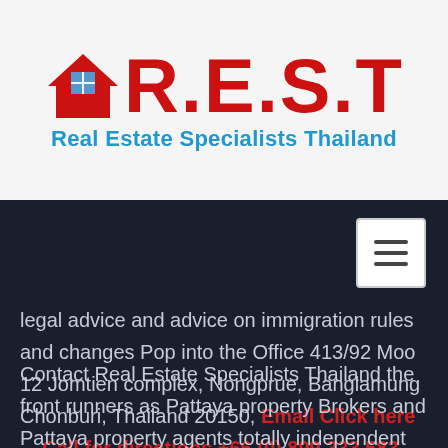[Figure (logo): R.E.S.T Real Estate Specialists Thailand logo with red house icon and red R.E.S.T text and blue subtitle]
legal advice and advice on immigration rules and changes Pop into the Office 413/92 Moo 12 Jomtien complex, Nongprue, Banglamung Chonburi, Thailand 20150, Email Click here    Call for directions +66 (0) 899 333 583
Contact Real Estate Specialists Thailand the front runners as Pattaya property Brokers and Pattaya property agents totally independent Real Estate brokers offer impartial advice on all your